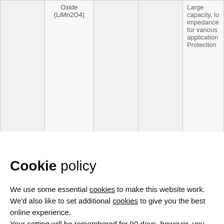|  | Oxide (LiMn2O4) |  |  | Large capacity, lo impedance for various application Protection |
Cookie policy
We use some essential cookies to make this website work. We'd also like to set additional cookies to give you the best online experience.
Your setting will be remembered for 90 days, however, you can change your preference at any point using the link in the website footer.
Manage Additional Cookies
Accept All Cookies